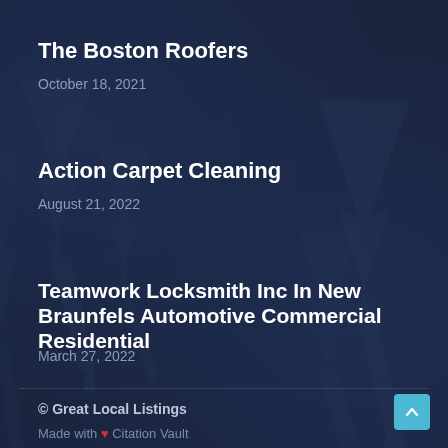The Boston Roofers
October 18, 2021
Action Carpet Cleaning
August 21, 2022
Teamwork Locksmith Inc In New Braunfels Automotive Commercial Residential
March 27, 2022
© Great Local Listings
Made with ❤ Citation Vault